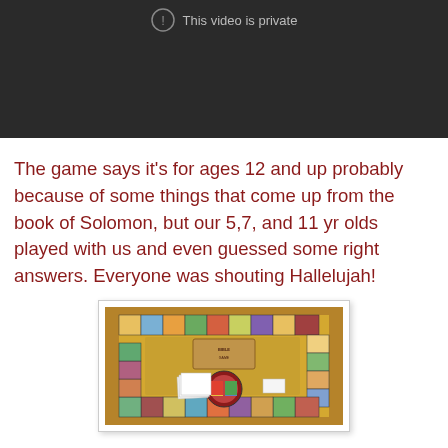[Figure (screenshot): Dark video player showing a private video message with a lock icon and text 'This video is private']
The game says it's for ages 12 and up probably because of some things that come up from the book of Solomon, but our 5,7, and 11 yr olds played with us and even guessed some right answers. Everyone was shouting Hallelujah!
[Figure (photo): Photo of a Bible board game laid out on a table, showing a colorful game board with illustrated squares around the border, card stacks, and game pieces in the center.]